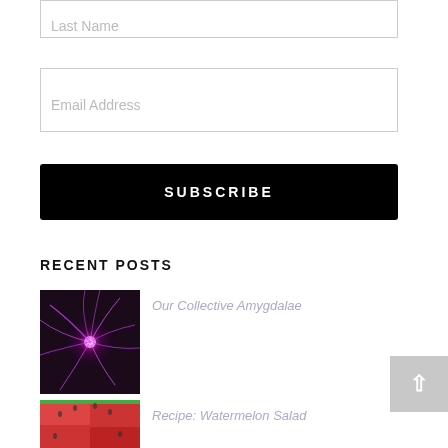Last Name
Email Address
SUBSCRIBE
RECENT POSTS
[Figure (photo): Plasma ball with pink/purple electric tendrils on dark background]
Our Collective Amygdalae
[Figure (photo): Sliced watermelon pieces on a surface]
Recipe: Watermelon Salad